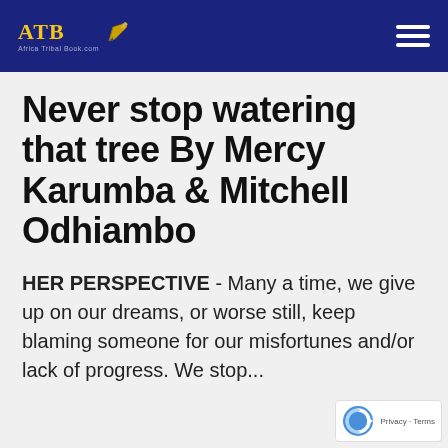ATB — Africa Tribal Book (logo with pen icon and hamburger menu)
Never stop watering that tree By Mercy Karumba & Mitchell Odhiambo
HER PERSPECTIVE - Many a time, we give up on our dreams, or worse still, keep blaming someone for our misfortunes and/or lack of progress. We stop...